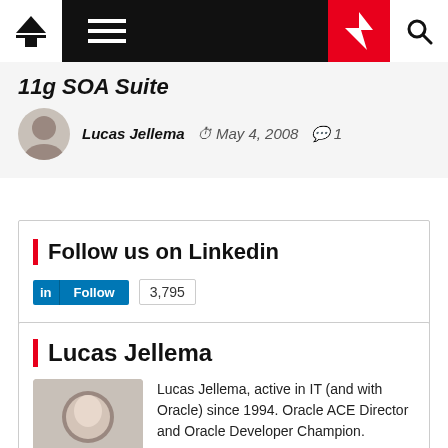11g SOA Suite
Lucas Jellema  May 4, 2008  1
Follow us on Linkedin
Follow  3,795
Lucas Jellema
Lucas Jellema, active in IT (and with Oracle) since 1994. Oracle ACE Director and Oracle Developer Champion. Solution architect and developer on diverse areas